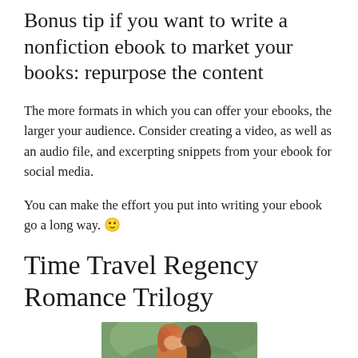Bonus tip if you want to write a nonfiction ebook to market your books: repurpose the content
The more formats in which you can offer your ebooks, the larger your audience. Consider creating a video, as well as an audio file, and excerpting snippets from your ebook for social media.
You can make the effort you put into writing your ebook go a long way. 🙂
Time Travel Regency Romance Trilogy
[Figure (photo): A romantic couple about to kiss, with red-haired woman and a man, blurred green background]